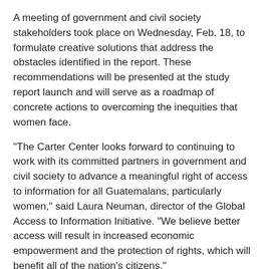A meeting of government and civil society stakeholders took place on Wednesday, Feb. 18, to formulate creative solutions that address the obstacles identified in the report. These recommendations will be presented at the study report launch and will serve as a roadmap of concrete actions to overcoming the inequities that women face.
"The Carter Center looks forward to continuing to work with its committed partners in government and civil society to advance a meaningful right of access to information for all Guatemalans, particularly women," said Laura Neuman, director of the Global Access to Information Initiative. "We believe better access will result in increased economic empowerment and the protection of rights, which will benefit all of the nation's citizens."
###
"Waging Peace. Fighting Disease. Building Hope."
A not-for-profit, nongovernmental organization, The Carter Center has helped to improve life for people in over 80 countries by resolving